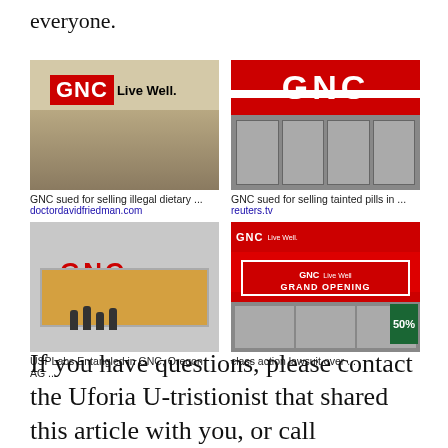everyone.
[Figure (photo): GNC store interior in a mall with 'GNC Live Well.' sign]
GNC sued for selling illegal dietary ...
doctordavidfriedman.com
[Figure (photo): GNC store exterior with large red GNC sign close-up]
GNC sued for selling tainted pills in ...
reuters.tv
[Figure (photo): GNC store exterior on a street with people standing outside]
USPLabs Entangled in GNC, Oregon AG ...
[Figure (photo): GNC Live Well Grand Opening store with red awning and banner]
class action lawsuit over ...
If you have questions, please contact the Uforia U-tristionist that shared this article with you, or call